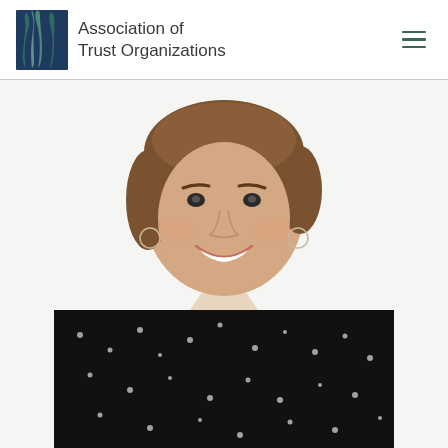Association of Trust Organizations
[Figure (photo): Professional headshot of a smiling woman with short brown hair, wearing a black and white patterned blouse and a delicate necklace, against a white background.]